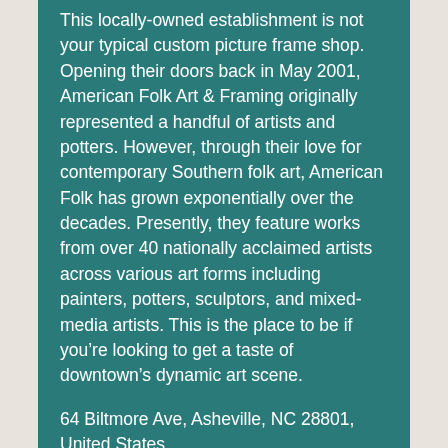This locally-owned establishment is not your typical custom picture frame shop. Opening their doors back in May 2001, American Folk Art & Framing originally represented a handful of artists and potters. However, through their love for contemporary Southern folk art, American Folk has grown exponentially over the decades. Presently, they feature works from over 40 nationally acclaimed artists across various art forms including painters, potters, sculptors, and mixed-media artists. This is the place to be if you're looking to get a taste of downtown's dynamic art scene.
64 Biltmore Ave, Asheville, NC 28801, United States   http://www.amerifolk.com/